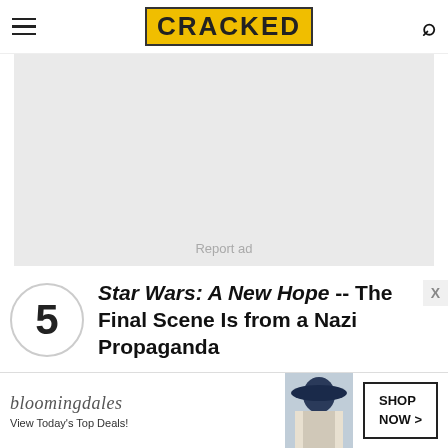CRACKED
[Figure (other): Gray advertisement placeholder box with 'Report ad' text]
5   Star Wars: A New Hope -- The Final Scene Is from a Nazi Propaganda
[Figure (other): Bloomingdales advertisement banner: logo, model with hat, 'View Today's Top Deals!', SHOP NOW button]